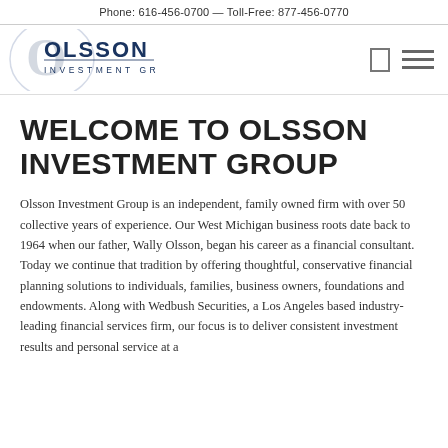Phone: 616-456-0700 — Toll-Free: 877-456-0770
[Figure (logo): Olsson Investment Group logo with circular O graphic and text]
WELCOME TO OLSSON INVESTMENT GROUP
Olsson Investment Group is an independent, family owned firm with over 50 collective years of experience. Our West Michigan business roots date back to 1964 when our father, Wally Olsson, began his career as a financial consultant. Today we continue that tradition by offering thoughtful, conservative financial planning solutions to individuals, families, business owners, foundations and endowments. Along with Wedbush Securities, a Los Angeles based industry-leading financial services firm, our focus is to deliver consistent investment results and personal service at a